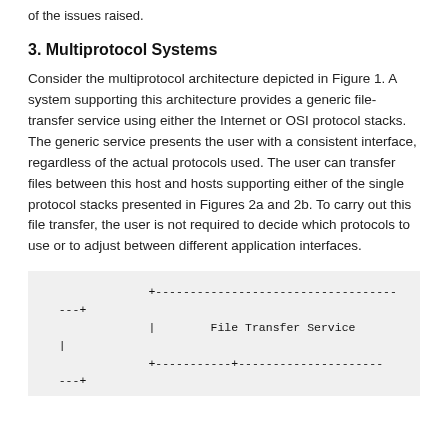of the issues raised.
3. Multiprotocol Systems
Consider the multiprotocol architecture depicted in Figure 1. A system supporting this architecture provides a generic file-transfer service using either the Internet or OSI protocol stacks. The generic service presents the user with a consistent interface, regardless of the actual protocols used. The user can transfer files between this host and hosts supporting either of the single protocol stacks presented in Figures 2a and 2b. To carry out this file transfer, the user is not required to decide which protocols to use or to adjust between different application interfaces.
[Figure (schematic): ASCII art diagram showing a File Transfer Service box with connection lines, partial view of a network protocol architecture diagram]